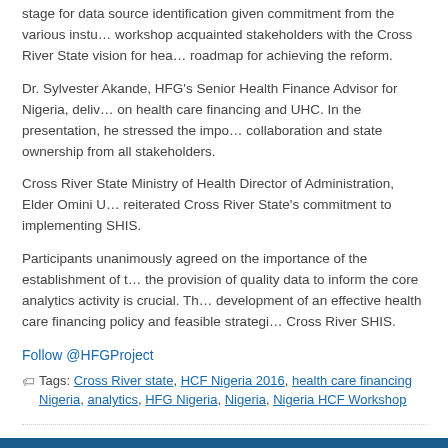stage for data source identification given commitment from the various insti… workshop acquainted stakeholders with the Cross River State vision for hea… roadmap for achieving the reform.
Dr. Sylvester Akande, HFG's Senior Health Finance Advisor for Nigeria, deliv… on health care financing and UHC. In the presentation, he stressed the impo… collaboration and state ownership from all stakeholders.
Cross River State Ministry of Health Director of Administration, Elder Omini U… reiterated Cross River State's commitment to implementing SHIS.
Participants unanimously agreed on the importance of the establishment of t… the provision of quality data to inform the core analytics activity is crucial. Th… development of an effective health care financing policy and feasible strategi… Cross River SHIS.
Follow @HFGProject
Tags: Cross River state, HCF Nigeria 2016, health care financing Nigeria, analytics, HFG Nigeria, Nigeria, Nigeria HCF Workshop